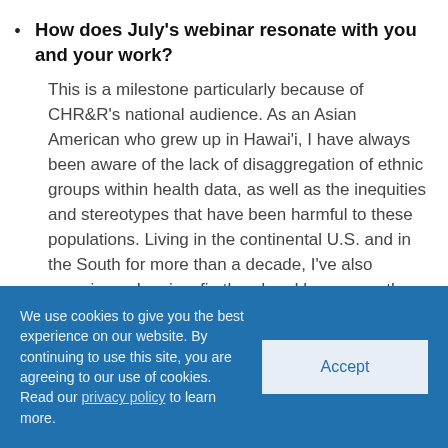How does July's webinar resonate with you and your work?
This is a milestone particularly because of CHR&R's national audience. As an Asian American who grew up in Hawai'i, I have always been aware of the lack of disaggregation of ethnic groups within health data, as well as the inequities and stereotypes that have been harmful to these populations. Living in the continental U.S. and in the South for more than a decade, I've also experienced racism firsthand and have seen these populations dismissed in important dialogues and
We use cookies to give you the best experience on our website. By continuing to use this site, you are agreeing to our use of cookies. Read our privacy policy to learn more.